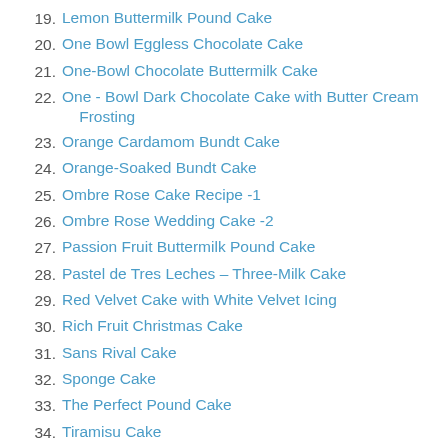19. Lemon Buttermilk Pound Cake
20. One Bowl Eggless Chocolate Cake
21. One-Bowl Chocolate Buttermilk Cake
22. One - Bowl Dark Chocolate Cake with Butter Cream Frosting
23. Orange Cardamom Bundt Cake
24. Orange-Soaked Bundt Cake
25. Ombre Rose Cake Recipe -1
26. Ombre Rose Wedding Cake -2
27. Passion Fruit Buttermilk Pound Cake
28. Pastel de Tres Leches – Three-Milk Cake
29. Red Velvet Cake with White Velvet Icing
30. Rich Fruit Christmas Cake
31. Sans Rival Cake
32. Sponge Cake
33. The Perfect Pound Cake
34. Tiramisu Cake
35. Two-Tier Birthday Cake with Marshmallow Fondant
36. White Chocolate and Passionfruit Celebration Cake